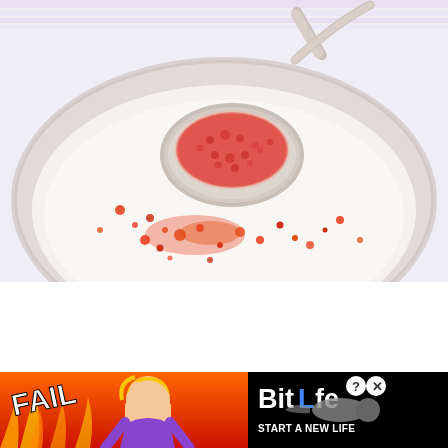[Figure (photo): Close-up photo of a spoon holding red/pink freeze-dried strawberry powder over a white creamy bowl (likely yogurt or cream), with some of the powder scattered into the bowl]
[Figure (other): Advertisement banner for BitLife mobile game, featuring red background with flames, a cartoon blonde woman facepalming, the word FAIL, game logo with BitLife text, and tagline START A NEW LIFE on black background]